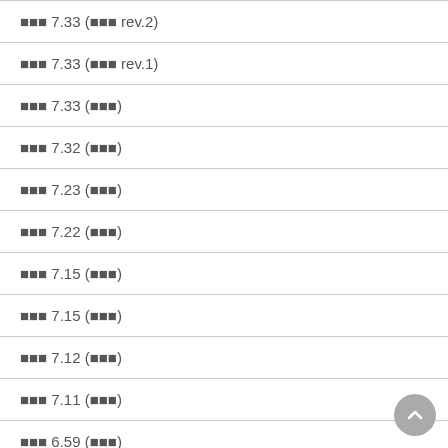▪▪▪ 7.33 (▪▪▪ rev.2)
▪▪▪ 7.33 (▪▪▪ rev.1)
▪▪▪ 7.33 (▪▪▪)
▪▪▪ 7.32 (▪▪▪)
▪▪▪ 7.23 (▪▪▪)
▪▪▪ 7.22 (▪▪▪)
▪▪▪ 7.15 (▪▪▪)
▪▪▪ 7.15 (▪▪▪)
▪▪▪ 7.12 (▪▪▪)
▪▪▪ 7.11 (▪▪▪)
▪▪▪ 6.59 (▪▪▪)
▪▪▪ 6.56 (▪▪▪)
▪▪▪ 6.53 (▪▪▪)
▪▪▪ 6.52 (▪▪▪)